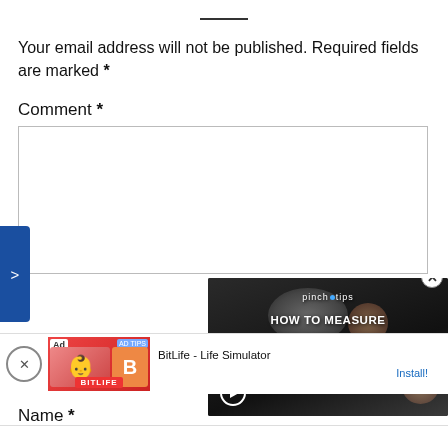——
Your email address will not be published. Required fields are marked *
Comment *
[Figure (screenshot): Comment text area input box (empty)]
[Figure (screenshot): Video overlay showing 'pinch tips HOW TO MEASURE INGREDIENTS' with play button]
[Figure (screenshot): Ad banner for BitLife - Life Simulator with Install button]
Name *